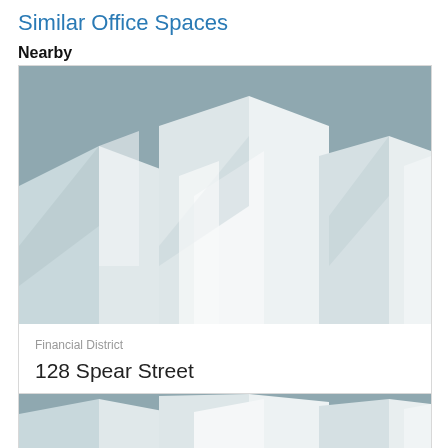Similar Office Spaces
Nearby
[Figure (illustration): Placeholder image of abstract geometric building shapes in muted blue-grey and white tones]
Financial District
128 Spear Street
4,800 - 5,982 SQFT
[Figure (illustration): Placeholder image of abstract geometric building shapes in muted blue-grey and white tones (second card, partially visible)]